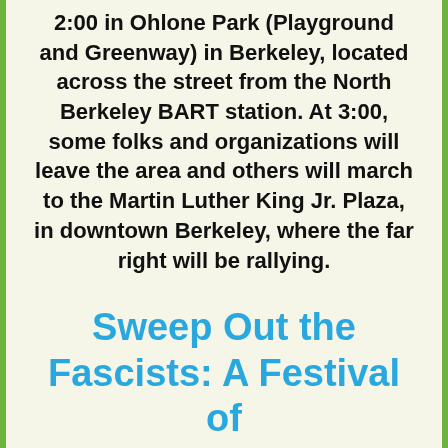2:00 in Ohlone Park (Playground and Greenway) in Berkeley, located across the street from the North Berkeley BART station. At 3:00, some folks and organizations will leave the area and others will march to the Martin Luther King Jr. Plaza, in downtown Berkeley, where the far right will be rallying.
Sweep Out the Fascists: A Festival of